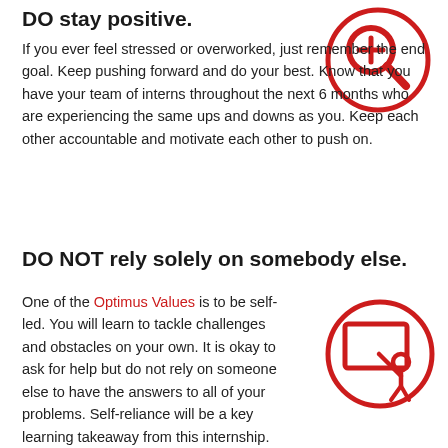DO stay positive.
[Figure (illustration): Red circle icon with a magnifying glass and plus sign inside]
If you ever feel stressed or overworked, just remember the end goal. Keep pushing forward and do your best. Know that you have your team of interns throughout the next 6 months who are experiencing the same ups and downs as you. Keep each other accountable and motivate each other to push on.
DO NOT rely solely on somebody else.
One of the Optimus Values is to be self-led. You will learn to tackle challenges and obstacles on your own. It is okay to ask for help but do not rely on someone else to have the answers to all of your problems. Self-reliance will be a key learning takeaway from this internship.
[Figure (illustration): Red circle icon with a person pointing at a presentation board]